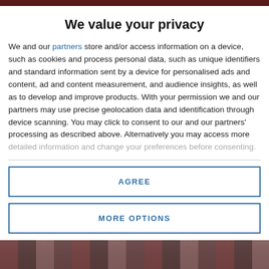We value your privacy
We and our partners store and/or access information on a device, such as cookies and process personal data, such as unique identifiers and standard information sent by a device for personalised ads and content, ad and content measurement, and audience insights, as well as to develop and improve products. With your permission we and our partners may use precise geolocation data and identification through device scanning. You may click to consent to our and our partners' processing as described above. Alternatively you may access more detailed information and change your preferences before consenting.